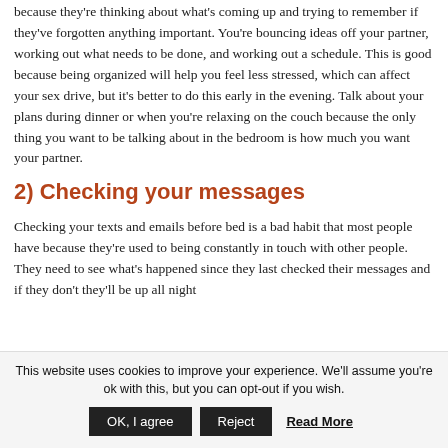because they're thinking about what's coming up and trying to remember if they've forgotten anything important. You're bouncing ideas off your partner, working out what needs to be done, and working out a schedule. This is good because being organized will help you feel less stressed, which can affect your sex drive, but it's better to do this early in the evening. Talk about your plans during dinner or when you're relaxing on the couch because the only thing you want to be talking about in the bedroom is how much you want your partner.
2) Checking your messages
Checking your texts and emails before bed is a bad habit that most people have because they're used to being constantly in touch with other people. They need to see what's happened since they last checked their messages and if they don't they'll be up all night
This website uses cookies to improve your experience. We'll assume you're ok with this, but you can opt-out if you wish.